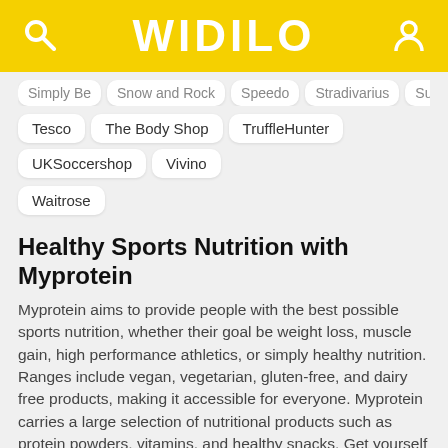WIDILO
Simply Be  Snow and Rock  Speedo  Stradivarius  Superdrug
Tesco  The Body Shop  TruffleHunter  UKSoccershop  Vivino
Waitrose
Healthy Sports Nutrition with Myprotein
Myprotein aims to provide people with the best possible sports nutrition, whether their goal be weight loss, muscle gain, high performance athletics, or simply healthy nutrition. Ranges include vegan, vegetarian, gluten-free, and dairy free products, making it accessible for everyone. Myprotein carries a large selection of nutritional products such as protein powders, vitamins, and healthy snacks. Get yourself a deal with a Myprotein discount code.
In addition to nutritional products, Myprotein sells a range of quality athletic wear and sporting equipment. Find backpacks, bottles, lifting belts, and towels, or update your sportswear and shop t-shirts, joggers, and leggings. You